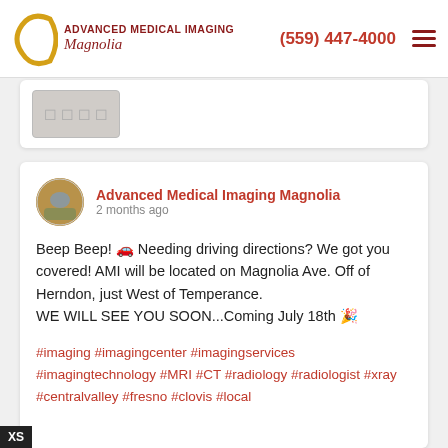[Figure (logo): Advanced Medical Imaging Magnolia logo with golden crescent and red text]
(559) 447-4000
[Figure (screenshot): Partial previous post card with blurred image content]
Advanced Medical Imaging Magnolia
2 months ago
Beep Beep! 🚗 Needing driving directions? We got you covered! AMI will be located on Magnolia Ave. Off of Herndon, just West of Temperance.
WE WILL SEE YOU SOON...Coming July 18th 🎉
#imaging #imagingcenter #imagingservices #imagingtechnology #MRI #CT #radiology #radiologist #xray #centralvalley #fresno #clovis #local